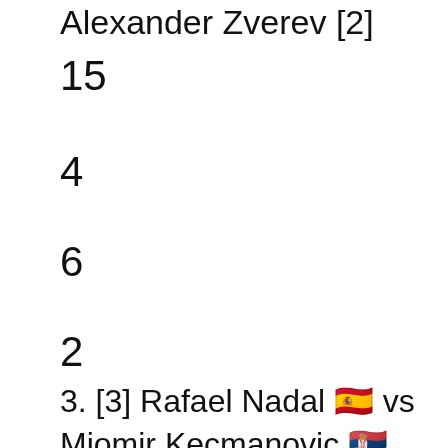Alexander Zverev [2]
15
4
6
2
3. [3] Rafael Nadal 🇪🇸 vs Miomir Kecmanovic 🇷🇸 (non prima ore: 16:00)
...